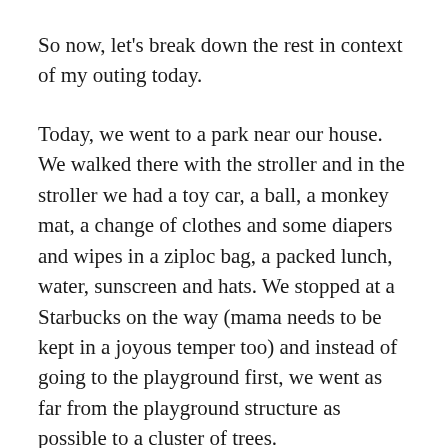So now, let's break down the rest in context of my outing today.
Today, we went to a park near our house. We walked there with the stroller and in the stroller we had a toy car, a ball, a monkey mat, a change of clothes and some diapers and wipes in a ziploc bag, a packed lunch, water, sunscreen and hats. We stopped at a Starbucks on the way (mama needs to be kept in a joyous temper too) and instead of going to the playground first, we went as far from the playground structure as possible to a cluster of trees.